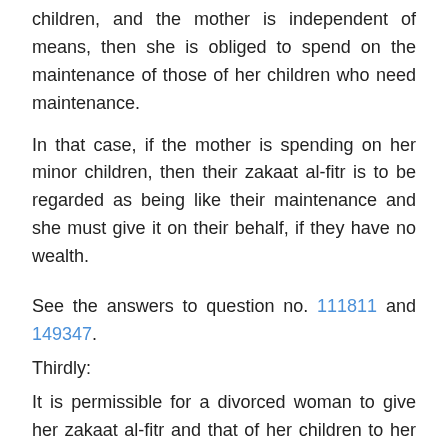children, and the mother is independent of means, then she is obliged to spend on the maintenance of those of her children who need maintenance.
In that case, if the mother is spending on her minor children, then their zakaat al-fitr is to be regarded as being like their maintenance and she must give it on their behalf, if they have no wealth.
See the answers to question no. 111811 and 149347.
Thirdly:
It is permissible for a divorced woman to give her zakaat al-fitr and that of her children to her ex-husband, so long as he is poor, and the fact that he may take the money then spend it on his children,